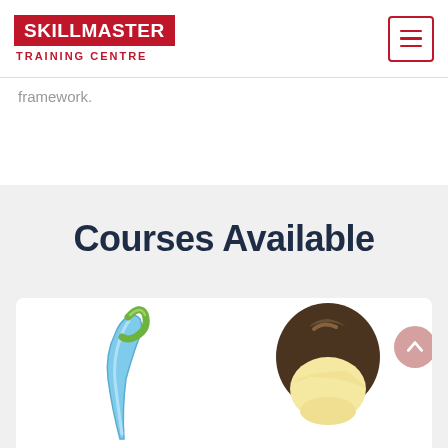SKILLMASTER TRAINING CENTRE
framework.
Courses Available
[Figure (illustration): Left card showing a dental tool illustration with a green curved wire and blue pointed tip]
[Figure (illustration): Right card showing a cartoon person wearing a dark brown helmet with a light yellow face, and a pink back-to-top circular button with an upward arrow]